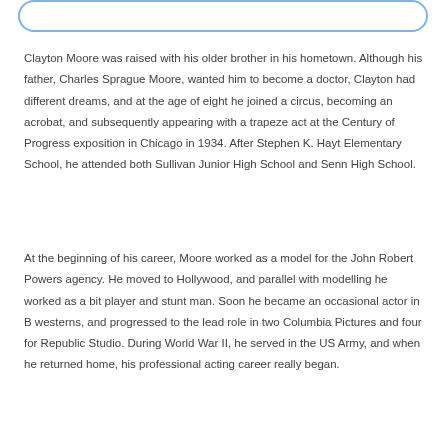Clayton Moore was raised with his older brother in his hometown. Although his father, Charles Sprague Moore, wanted him to become a doctor, Clayton had different dreams, and at the age of eight he joined a circus, becoming an acrobat, and subsequently appearing with a trapeze act at the Century of Progress exposition in Chicago in 1934. After Stephen K. Hayt Elementary School, he attended both Sullivan Junior High School and Senn High School.
At the beginning of his career, Moore worked as a model for the John Robert Powers agency. He moved to Hollywood, and parallel with modelling he worked as a bit player and stunt man. Soon he became an occasional actor in B westerns, and progressed to the lead role in two Columbia Pictures and four for Republic Studio. During World War II, he served in the US Army, and when he returned home, his professional acting career really began.